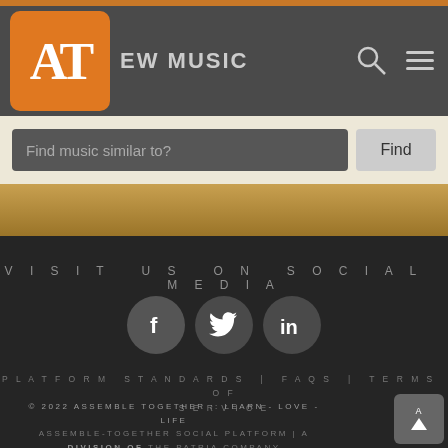[Figure (logo): AT logo orange rounded square with text NEW MUSIC and navigation icons]
Find music similar to?
[Figure (infographic): Social media icons: Facebook, Twitter, LinkedIn in dark circles]
VISIT US ON SOCIAL MEDIA
PLATFORM STANDARDS | FAQS | TERMS OF SERVICE
© 2022 ASSEMBLE TOGETHER :: LEARN - LOVE - LIFE ASSEMBLE-TOGETHER SOCIAL PLATFORM | A DIVISION OF THE PATRIA COMPANY